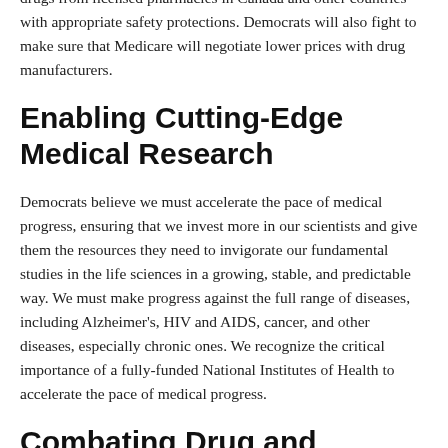individuals, pharmacists, and wholesalers to import prescription drugs from licensed pharmacies in Canada and other countries with appropriate safety protections. Democrats will also fight to make sure that Medicare will negotiate lower prices with drug manufacturers.
Enabling Cutting-Edge Medical Research
Democrats believe we must accelerate the pace of medical progress, ensuring that we invest more in our scientists and give them the resources they need to invigorate our fundamental studies in the life sciences in a growing, stable, and predictable way. We must make progress against the full range of diseases, including Alzheimer's, HIV and AIDS, cancer, and other diseases, especially chronic ones. We recognize the critical importance of a fully-funded National Institutes of Health to accelerate the pace of medical progress.
Combating Drug and Alcohol Addiction